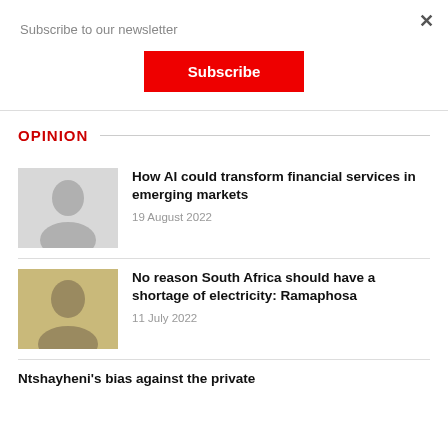Subscribe to our newsletter
Subscribe
OPINION
How AI could transform financial services in emerging markets
19 August 2022
No reason South Africa should have a shortage of electricity: Ramaphosa
11 July 2022
Ntshayheni's bias against the private